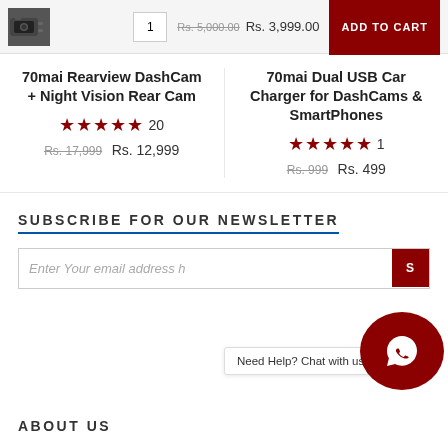[Figure (screenshot): Product thumbnail image of a dashcam camera, small icon, on grey background bar with quantity 1, strikethrough price Rs. 5,000.00, price Rs. 3,999.00, and ADD TO CART dark red button]
70mai Rearview DashCam + Night Vision Rear Cam
★★★★★ 20
Rs. 17,999 Rs. 12,999
70mai Dual USB Car Charger for DashCams & SmartPhones
★★★★★ 1
Rs. 999 Rs. 499
SUBSCRIBE FOR OUR NEWSLETTER
Enter Your email address here
Need Help? Chat with us
ABOUT US